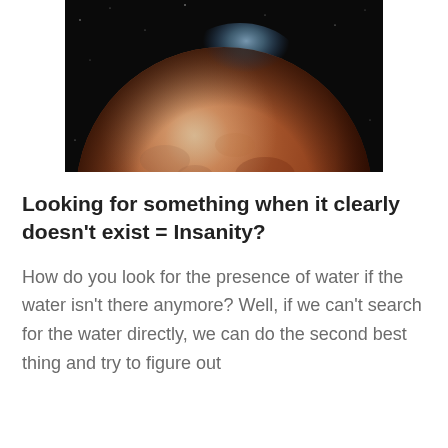[Figure (photo): Photograph of Mars — a reddish-orange planet with blue-tinted polar region against a black space background, cropped so the bottom of the planet extends to the edge of the image frame.]
Looking for something when it clearly doesn't exist = Insanity?
How do you look for the presence of water if the water isn't there anymore? Well, if we can't search for the water directly, we can do the second best thing and try to figure out